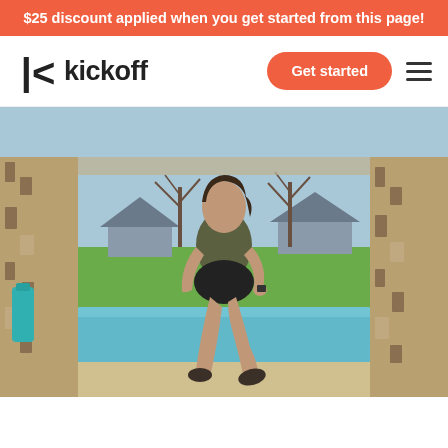$25 discount applied when you get started from this page!
[Figure (logo): Kickoff fitness app logo with stylized K icon and wordmark 'kickoff']
Get started
[Figure (photo): A woman in athletic wear (dark tank top and black shorts) running toward the camera in an outdoor covered patio area next to a swimming pool. Stone pillars on both sides, green lawn and bare trees visible in background. A teal water bottle sits on the left ledge.]